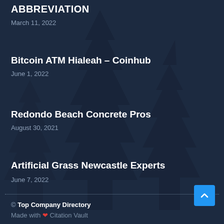ABBREVIATION
March 11, 2022
Bitcoin ATM Hialeah – Coinhub
June 1, 2022
Redondo Beach Concrete Pros
August 30, 2021
Artificial Grass Newcastle Experts
June 7, 2022
© Top Company Directory
Made with ❤ Citation Vault